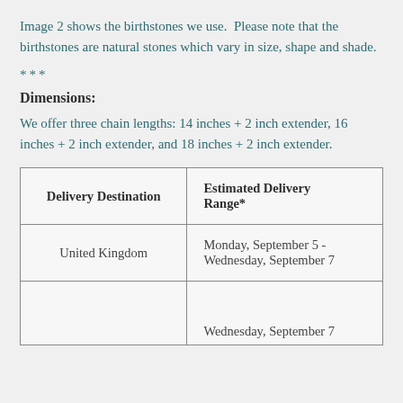Image 2 shows the birthstones we use. Please note that the birthstones are natural stones which vary in size, shape and shade.
***
Dimensions:
We offer three chain lengths: 14 inches + 2 inch extender, 16 inches + 2 inch extender, and 18 inches + 2 inch extender.
| Delivery Destination | Estimated Delivery Range* |
| --- | --- |
| United Kingdom | Monday, September 5 - Wednesday, September 7 |
|  | Wednesday, September 7 |